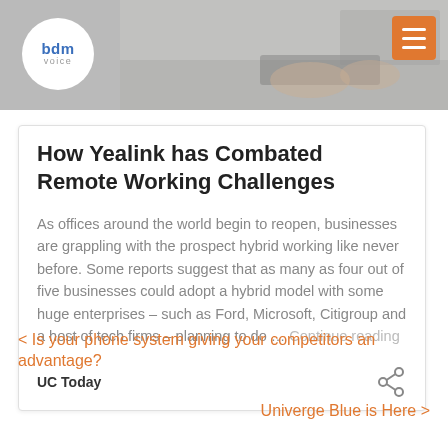[Figure (photo): Header photo of a person working at a desk with keyboard, partially visible. Gray background with bdm voice logo circle and orange hamburger menu icon.]
How Yealink has Combated Remote Working Challenges
As offices around the world begin to reopen, businesses are grappling with the prospect hybrid working like never before. Some reports suggest that as many as four out of five businesses could adopt a hybrid model with some huge enterprises – such as Ford, Microsoft, Citigroup and a host of tech firms – planning to do … Continue reading
UC Today
< Is your phone system giving your competitors an advantage?
Univerge Blue is Here >